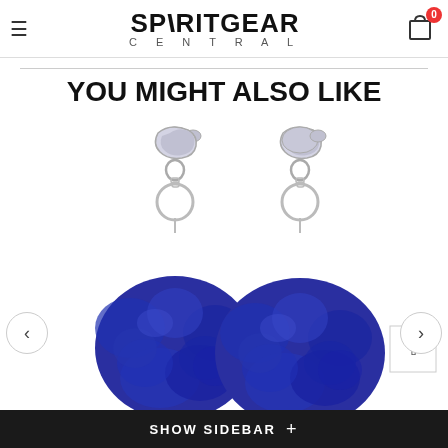SPIRITGEAR CENTRAL
YOU MIGHT ALSO LIKE
[Figure (photo): Two blue fluffy pom-pom keychains with silver clasps and lobster claw clips. Left keychain has a BYU (Y) logo medallion; right keychain has a Creighton (C) logo medallion. Both are deep royal blue color.]
SHOW SIDEBAR +